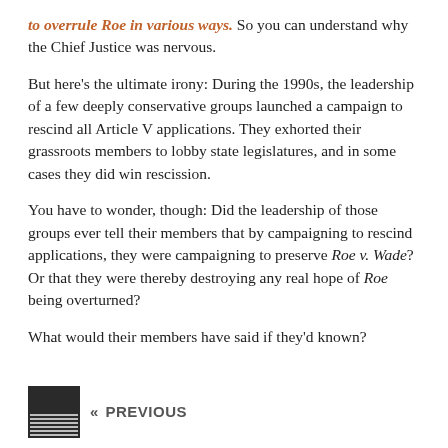to overrule Roe in various ways. So you can understand why the Chief Justice was nervous.
But here's the ultimate irony: During the 1990s, the leadership of a few deeply conservative groups launched a campaign to rescind all Article V applications. They exhorted their grassroots members to lobby state legislatures, and in some cases they did win rescission.
You have to wonder, though: Did the leadership of those groups ever tell their members that by campaigning to rescind applications, they were campaigning to preserve Roe v. Wade? Or that they were thereby destroying any real hope of Roe being overturned?
What would their members have said if they'd known?
[Figure (other): Previous navigation element with a small dark thumbnail image and PREVIOUS label]